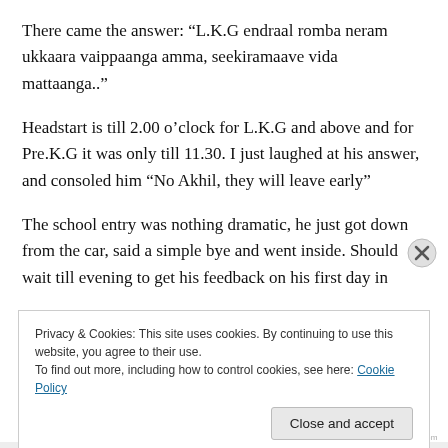There came the answer: “L.K.G endraal romba neram ukkaara vaippaanga amma, seekiramaave vida mattaanga..”
Headstart is till 2.00 o’clock for L.K.G and above and for Pre.K.G it was only till 11.30. I just laughed at his answer, and consoled him “No Akhil, they will leave early”
The school entry was nothing dramatic, he just got down from the car, said a simple bye and went inside. Should wait till evening to get his feedback on his first day in
Privacy & Cookies: This site uses cookies. By continuing to use this website, you agree to their use.
To find out more, including how to control cookies, see here: Cookie Policy
Close and accept